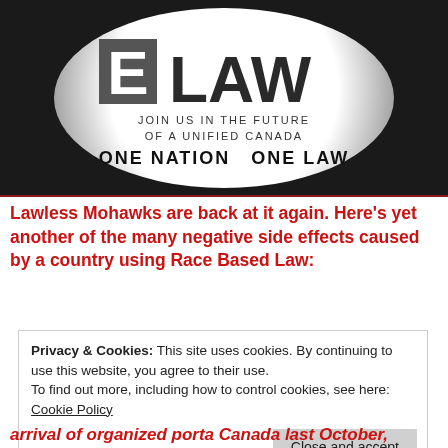[Figure (logo): E-LAW logo: circular emblem on dark background with text 'JOIN US IN THE FUTURE OF A UNIFIED CANADA' and 'ONE NATION ONE LAW']
Lawless Mohawks are back at it again. Here's yet another of the many negative side effects caused by a country using Race Based Law:
Privacy & Cookies: This site uses cookies. By continuing to use this website, you agree to their use. To find out more, including how to control cookies, see here: Cookie Policy
arrival of organized porta Canada last October,